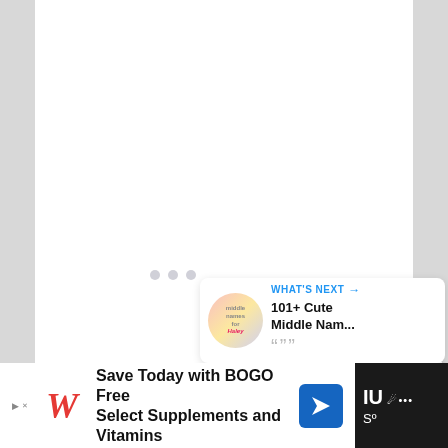[Figure (screenshot): Web page screenshot with white content area, gray borders on left and right, loading spinner dots in center, blue heart/like button, share button, like count of 1, 'What's Next' panel showing '101+ Cute Middle Nam...' with thumbnail, and Walgreens BOGO advertisement at bottom.]
1
WHAT'S NEXT → 101+ Cute Middle Nam...
Save Today with BOGO Free Select Supplements and Vitamins